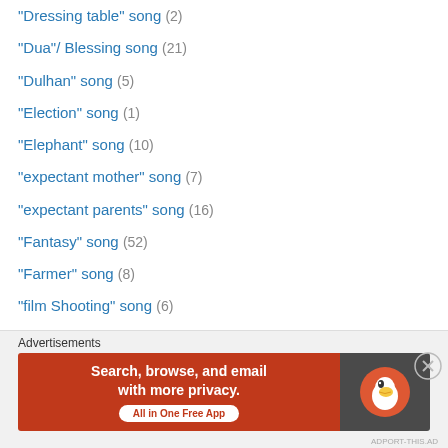"Dressing table" song (2)
"Dua"/ Blessing song (21)
"Dulhan" song (5)
"Election" song (1)
"Elephant" song (10)
"expectant mother" song (7)
"expectant parents" song (16)
"Fantasy" song (52)
"Farmer" song (8)
"film Shooting" song (6)
"Fisherman" song (3)
"Friendship" song (14)
"Fun on Sea" song (2)
"gaagri" song (5)
"Ganga" song (25)
"Gareeb" related song (8)
Advertisements
[Figure (other): DuckDuckGo advertisement banner: 'Search, browse, and email with more privacy. All in One Free App' with DuckDuckGo logo on dark background.]